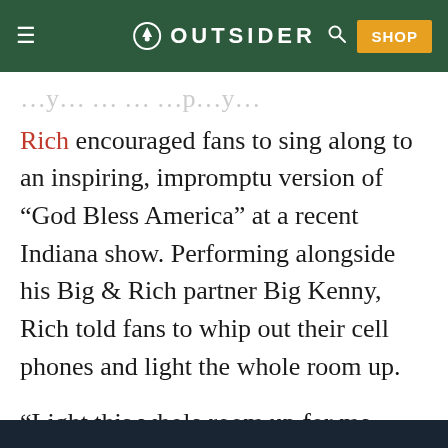OUTSIDER (navigation bar with logo, hamburger menu, search icon, and SHOP button)
Rich encouraged fans to sing along to an inspiring, impromptu version of “God Bless America” at a recent Indiana show. Performing alongside his Big & Rich partner Big Kenny, Rich told fans to whip out their cell phones and light the whole room up.
“Light this whole room up for me. Bring ‘em up, bring ‘em up,” he beckoned from the stage as a member of his band filmed from behind. “We’re going to sing a song that we all learned